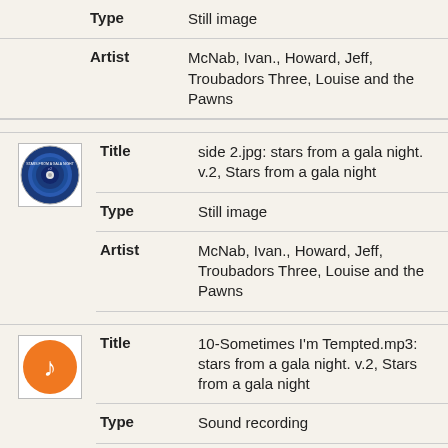| Field | Value |
| --- | --- |
| Type | Still image |
| Artist | McNab, Ivan., Howard, Jeff, Troubadors Three, Louise and the Pawns |
| Title | side 2.jpg: stars from a gala night. v.2, Stars from a gala night |
| Type | Still image |
| Artist | McNab, Ivan., Howard, Jeff, Troubadors Three, Louise and the Pawns |
| Title | 10-Sometimes I'm Tempted.mp3: stars from a gala night. v.2, Stars from a gala night |
| Type | Sound recording |
| Artist | McNab, Ivan., Howard, Jeff, |